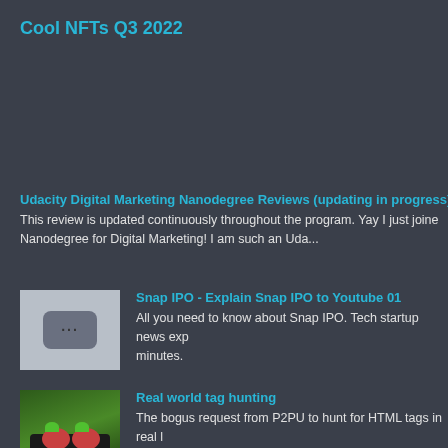Cool NFTs Q3 2022
Udacity Digital Marketing Nanodegree Reviews (updating in progress)
This review is updated continuously throughout the program. Yay I just joined the Nanodegree for Digital Marketing! I am such an Uda...
[Figure (screenshot): Video thumbnail with three dots icon on grey background]
Snap IPO - Explain Snap IPO to Youtube 01
All you need to know about Snap IPO. Tech startup news exp... minutes.
[Figure (photo): Food photo showing two red round items garnished with green herbs on a dark tray against a green background]
Real world tag hunting
The bogus request from P2PU to hunt for HTML tags in real l... good thoughts. My first impression was that this is stup...